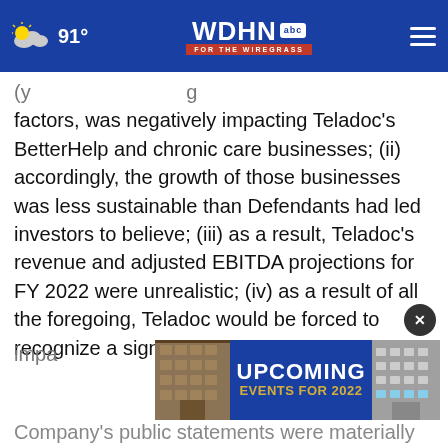91° WDHN ABC FOR THE WIREGRASS
factors, was negatively impacting Teladoc's BetterHelp and chronic care businesses; (ii) accordingly, the growth of those businesses was less sustainable than Defendants had led investors to believe; (iii) as a result, Teladoc's revenue and adjusted EBITDA projections for FY 2022 were unrealistic; (iv) as a result of all the foregoing, Teladoc would be forced to recognize a significant non-cash goodw[ill] impa[irment charge that] Company's public statements were materially
[Figure (screenshot): Advertisement banner: UPCOMING EVENTS FOR 2022, with building photos on left and right sides, blue background with gold text]
Company's public statements were materially